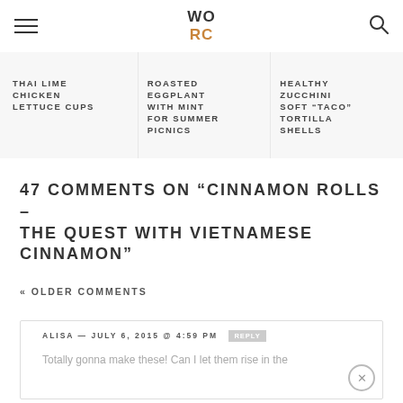WO RC
THAI LIME CHICKEN LETTUCE CUPS
ROASTED EGGPLANT WITH MINT FOR SUMMER PICNICS
HEALTHY ZUCCHINI SOFT "TACO" TORTILLA SHELLS
47 COMMENTS ON “CINNAMON ROLLS – THE QUEST WITH VIETNAMESE CINNAMON”
« OLDER COMMENTS
ALISA — JULY 6, 2015 @ 4:59 PM  REPLY
Totally gonna make these! Can I let them rise in the